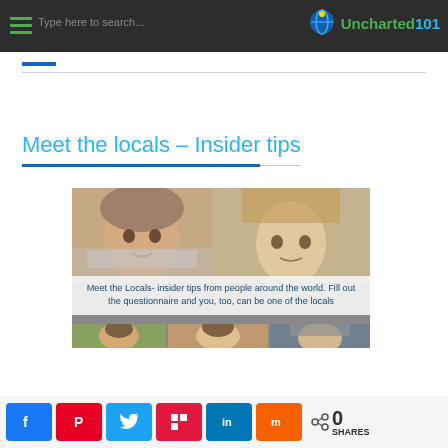Uncharted101 — Type here to search
Meet the locals – Insider tips
[Figure (photo): Collage of portraits with text overlay: 'Meet the Locals- insider tips from people around the world. Fill out the questionnaire and you, too, can be one of the locals']
0 SHARES — social share buttons: Facebook, Pinterest, Twitter, Flipboard, LinkedIn, Mix